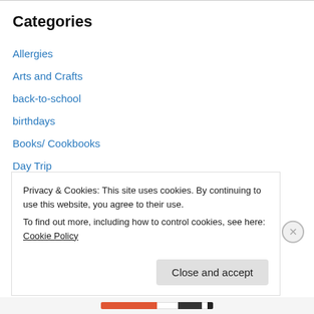Categories
Allergies
Arts and Crafts
back-to-school
birthdays
Books/ Cookbooks
Day Trip
Decorating
Events
Fashion
Fast and Healthy
Privacy & Cookies: This site uses cookies. By continuing to use this website, you agree to their use. To find out more, including how to control cookies, see here: Cookie Policy
Close and accept